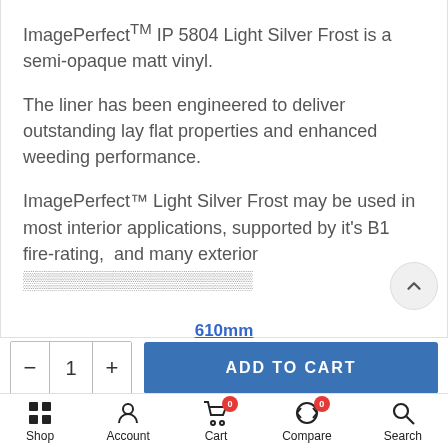ImagePerfect™ IP 5804 Light Silver Frost is a semi-opaque matt vinyl.
The liner has been engineered to deliver outstanding lay flat properties and enhanced weeding performance.
ImagePerfect™ Light Silver Frost may be used in most interior applications, supported by it's B1 fire-rating, and many exterior
610mm
1
ADD TO CART
Shop  Account  Cart  Compare  Search